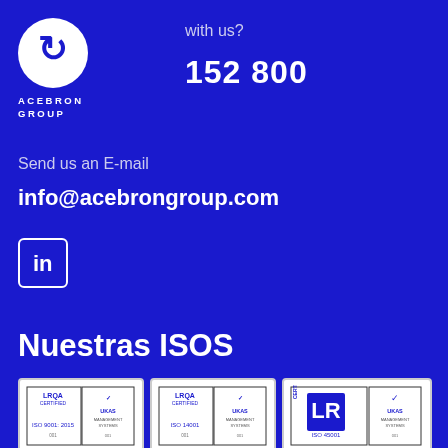[Figure (logo): Acebron Group logo - white circle with stylized 'e' arrow, text ACEBRON GROUP below]
with us?
152 800
Send us an E-mail
info@acebrongroup.com
[Figure (logo): LinkedIn icon - white 'in' on blue bordered box]
Nuestras ISOS
[Figure (other): LRQA Certified ISO 9001:2015 with UKAS certification badge]
[Figure (other): LRQA Certified ISO 14001 with UKAS certification badge]
[Figure (other): LR Certified ISO 45001 with UKAS management systems badge]
[Figure (other): LR Certified badge (partial, bottom row left)]
[Figure (other): LR Certified ISO 3834 badge (partial, bottom row right)]